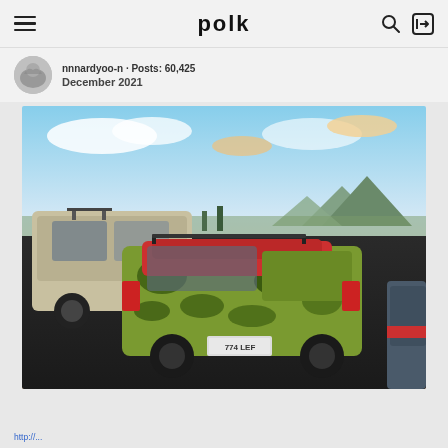polk
nnnardyoo-n · Posts: 60,425
December 2021
[Figure (photo): A car with camouflage/watermelon green and black patterned wrap with a pink/red roof and roof rack, license plate 774 LEF, parked in a lot with a panoramic city and mountain view at sunset. A silver SUV with bike rack is to the left.]
http://...